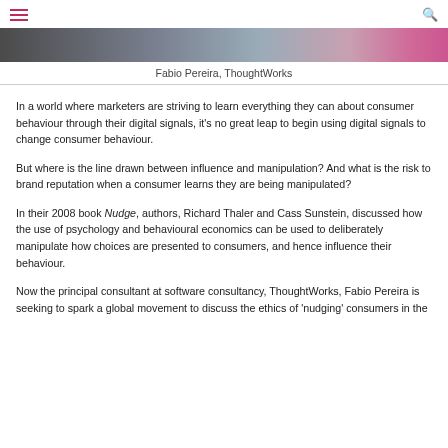☰  🔍
[Figure (photo): Photo strip of Fabio Pereira at the top of the page]
Fabio Pereira, ThoughtWorks
In a world where marketers are striving to learn everything they can about consumer behaviour through their digital signals, it's no great leap to begin using digital signals to change consumer behaviour.
But where is the line drawn between influence and manipulation? And what is the risk to brand reputation when a consumer learns they are being manipulated?
In their 2008 book Nudge, authors, Richard Thaler and Cass Sunstein, discussed how the use of psychology and behavioural economics can be used to deliberately manipulate how choices are presented to consumers, and hence influence their behaviour.
Now the principal consultant at software consultancy, ThoughtWorks, Fabio Pereira is seeking to spark a global movement to discuss the ethics of 'nudging' consumers in the